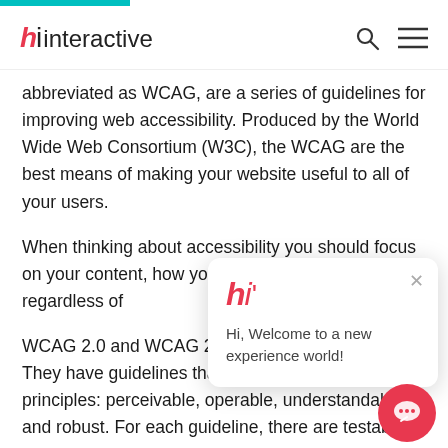hi interactive
abbreviated as WCAG, are a series of guidelines for improving web accessibility. Produced by the World Wide Web Consortium (W3C), the WCAG are the best means of making your website useful to all of your users.
When thinking about accessibility you should focus on your content, how you a[…] everyone regardless of[…]
WCAG 2.0 and WCAG 2.[…] technical standards. They have guidelines that are organized under 4 principles: perceivable, operable, understandable, and robust. For each guideline, […] are testable success criteria, which are at three levels:
[Figure (screenshot): Chat popup widget showing hi interactive logo and welcome message: Hi, Welcome to a new experience world!]